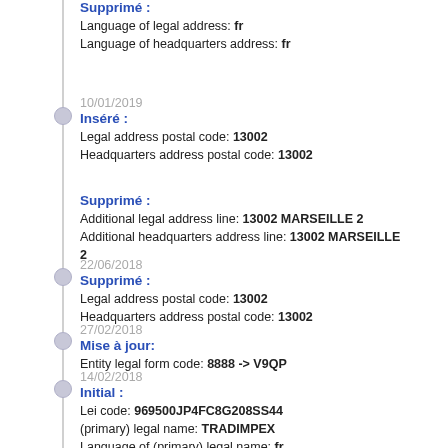Supprimé :
Language of legal address: fr
Language of headquarters address: fr
10/01/2019
Inséré :
Legal address postal code: 13002
Headquarters address postal code: 13002
Supprimé :
Additional legal address line: 13002 MARSEILLE 2
Additional headquarters address line: 13002 MARSEILLE 2
22/06/2018
Supprimé :
Legal address postal code: 13002
Headquarters address postal code: 13002
27/02/2018
Mise à jour:
Entity legal form code: 8888 -> V9QP
14/02/2018
Initial :
Lei code: 969500JP4FC8G208SS44
(primary) legal name: TRADIMPEX
Language of (primary) legal name: fr